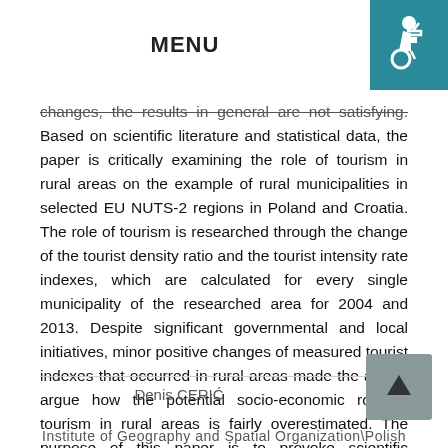MENU
changes, the results in general are not satisfying. Based on scientific literature and statistical data, the paper is critically examining the role of tourism in rural areas on the example of rural municipalities in selected EU NUTS-2 regions in Poland and Croatia. The role of tourism is researched through the change of the tourist density ratio and the tourist intensity rate indexes, which are calculated for every single municipality of the researched area for 2004 and 2013. Despite significant governmental and local initiatives, minor positive changes of measured tourist indexes that occurred in rural areas made the author argue how the potential socio-economic role of tourism in rural areas is fairly overestimated. The purpose of this paper is to provoke scientific discussion on artificial developing of tourism in rural areas which are not pre-determined for tourism.
Denis CERIĆ
Institute of Geography and Spatial Organization\Polish